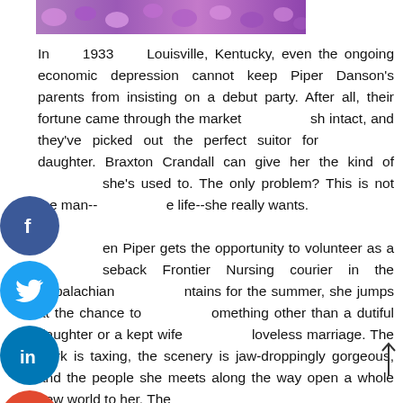[Figure (photo): Top decorative image showing purple flowers]
In 1933 Louisville, Kentucky, even the ongoing economic depression cannot keep Piper Danson's parents from insisting on a debut party. After all, their fortune came through the market crash intact, and they've picked out the perfect suitor for their daughter. Braxton Crandall can give her the kind of life she's used to. The only problem? This is not the man--or the life--she really wants.

When Piper gets the opportunity to volunteer as a horseback Frontier Nursing courier in the Appalachian Mountains for the summer, she jumps at the chance to be something other than a dutiful daughter or a kept wife in a loveless marriage. The work is taxing, the scenery is jaw-droppingly gorgeous, and the people she meets along the way open a whole new world to her. The
[Figure (illustration): Social media icons: Facebook, Twitter, LinkedIn, Email, Instagram]